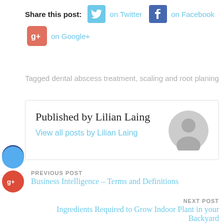Share this post: on Twitter on Facebook on Google+
Tagged dental abscess treatment, scaling and root planing
Published by Lilian Laing
View all posts by Lilian Laing
PREVIOUS POST
Business Intelligence – Terms and Definitions
NEXT POST
Ingredients Required to Grow Indoor Plant in your Backyard